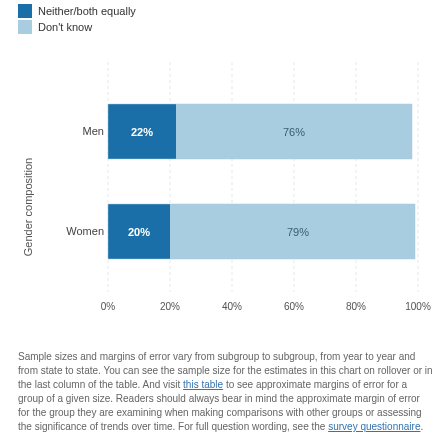Neither/both equally
Don't know
[Figure (stacked-bar-chart): ]
Sample sizes and margins of error vary from subgroup to subgroup, from year to year and from state to state. You can see the sample size for the estimates in this chart on rollover or in the last column of the table. And visit this table to see approximate margins of error for a group of a given size. Readers should always bear in mind the approximate margin of error for the group they are examining when making comparisons with other groups or assessing the significance of trends over time. For full question wording, see the survey questionnaire.